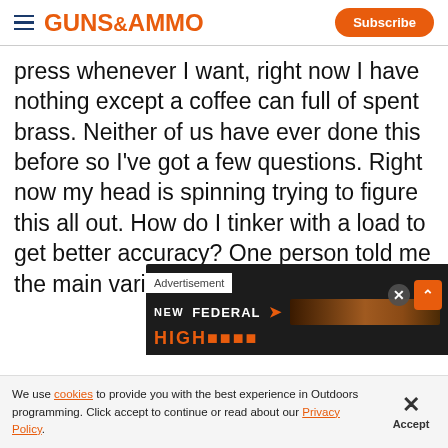GUNS&AMMO | Subscribe
press whenever I want, right now I have nothing except a coffee can full of spent brass. Neither of us have ever done this before so I've got a few questions. Right now my head is spinning trying to figure this all out. How do I tinker with a load to get better accuracy? One person told me the main variant was how deep the bulle... while another po...
[Figure (screenshot): Advertisement overlay showing Federal ammunition brand with orange close and chevron buttons]
We use cookies to provide you with the best experience in Outdoors programming. Click accept to continue or read about our Privacy Policy.